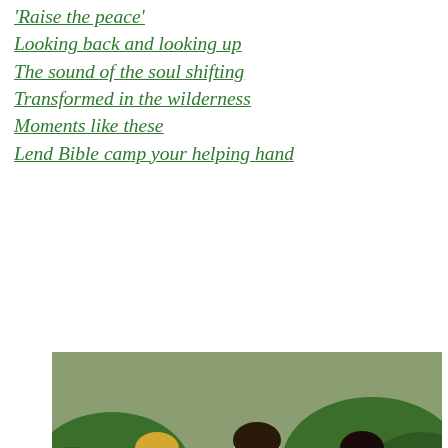'Raise the peace'
Looking back and looking up
The sound of the soul shifting
Transformed in the wilderness
Moments like these
Lend Bible camp your helping hand
[Figure (photo): Three children kneeling outdoors in mulch among bushes, wearing red shirts, apparently learning to make crafts from recycled materials at Conrad Grebel University.]
Grace Eagle, left, Meghan Murray and Mikaela Tang learn to make crafts out of recycled materials at Conrad Grebel University